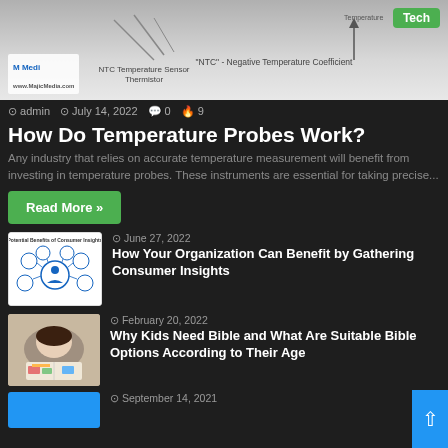[Figure (photo): NTC Temperature Sensor / Thermistor diagram with 'NTC' Negative Temperature Coefficient label and Tech badge. Logo in bottom-left corner.]
admin  July 14, 2022  0  9
How Do Temperature Probes Work?
Any industry that relies on accurate temperature measurement will benefit from investing in temperature probes. These instruments are essential for taking precise...
Read More »
[Figure (illustration): Potential Benefits of Consumer Insights diagram with circular icons]
June 27, 2022
How Your Organization Can Benefit by Gathering Consumer Insights
[Figure (photo): Child reading a book - Bible article thumbnail]
February 20, 2022
Why Kids Need Bible and What Are Suitable Bible Options According to Their Age
[Figure (photo): Blue thumbnail image for last article]
September 14, 2021